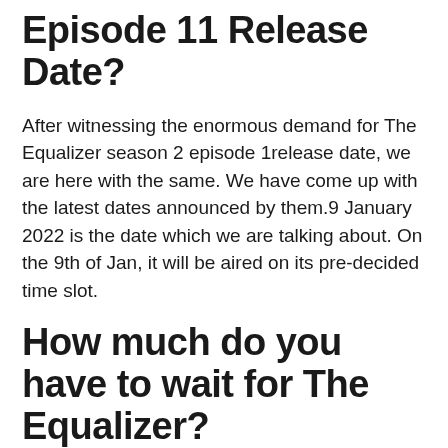Episode 11 Release Date?
After witnessing the enormous demand for The Equalizer season 2 episode 1release date, we are here with the same. We have come up with the latest dates announced by them.9 January 2022 is the date which we are talking about. On the 9th of Jan, it will be aired on its pre-decided time slot.
How much do you have to wait for The Equalizer?
We have mentioned the equalizer season 2